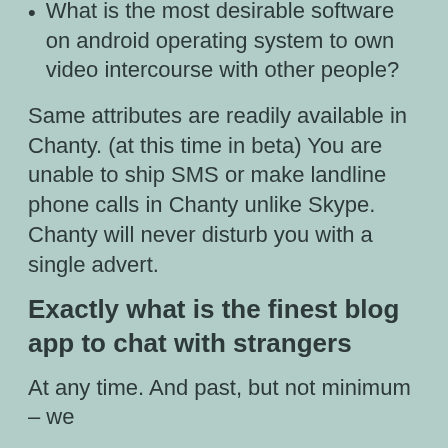What is the most desirable software on android operating system to own video intercourse with other people?
Same attributes are readily available in Chanty. (at this time in beta) You are unable to ship SMS or make landline phone calls in Chanty unlike Skype. Chanty will never disturb you with a single advert.
Exactly what is the finest blog app to chat with strangers
At any time. And past, but not minimum – we